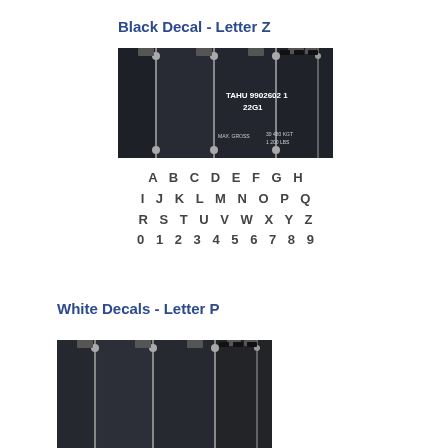Black Decal - Letter Z
[Figure (photo): Photo of dark/black shipping containers with vertical locking rods. Text on container reads: TAHU 9902602 1, 22G1, MAX. GROSS, 30 480 KGT, 1 200 LBS]
[Figure (illustration): Alphabet and numerals display in bold monospace font: A B C D E F G H / I J K L M N O P Q / R S T U V W X Y Z / 0 1 2 3 4 5 6 7 8 9]
White Decals - Letter P
[Figure (photo): Partial photo of shipping containers at bottom of page, similar to the top image showing container locking rods and metal panels]